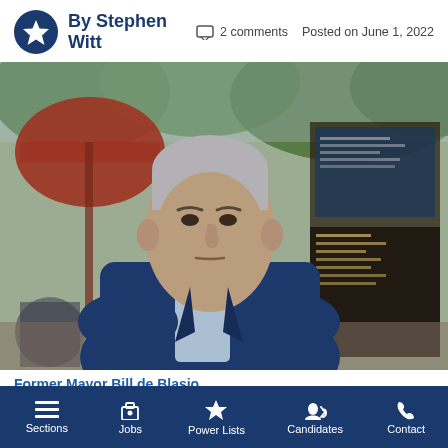By Stephen Witt  □ 2 comments  Posted on June 1, 2022
[Figure (photo): Former Mayor Bill de Blasio seated outdoors at a café, wearing a blue blazer and light blue shirt, with trees and a menu board in the background.]
Former Mayor Bill de Blasio.
Photo by Tsubasa Berg.
Sections  Jobs  Power Lists  Candidates  Contact